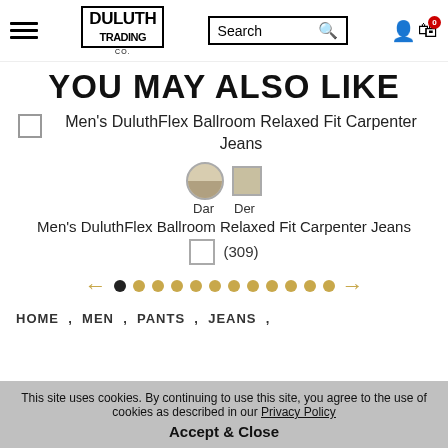Duluth Trading Co — Navigation header with logo, search, and cart
YOU MAY ALSO LIKE
Men's DuluthFlex Ballroom Relaxed Fit Carpenter Jeans
[Figure (other): Color swatch circles and squares with labels 'Dar' and 'Der']
Men's DuluthFlex Ballroom Relaxed Fit Carpenter Jeans
(309)
[Figure (other): Carousel navigation with left arrow, dots (first dot active, 11 total), and right arrow]
HOME , MEN , PANTS , JEANS ,
This site uses cookies. By continuing to use this site, you agree to the use of cookies as described in our Privacy Policy
Accept & Close